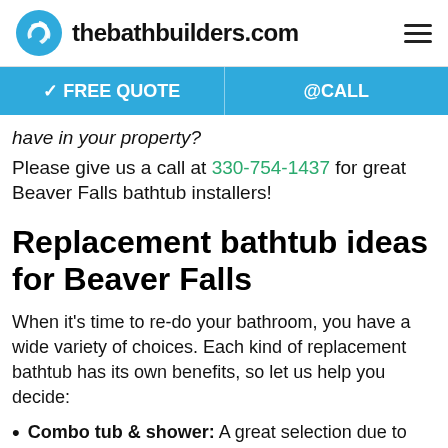thebathbuilders.com
✓ FREE QUOTE   @CALL
have in your property?
Please give us a call at 330-754-1437 for great Beaver Falls bathtub installers!
Replacement bathtub ideas for Beaver Falls
When it's time to re-do your bathroom, you have a wide variety of choices. Each kind of replacement bathtub has its own benefits, so let us help you decide:
Combo tub & shower: A great selection due to